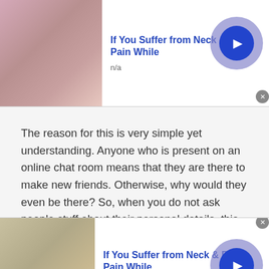[Figure (photo): Top advertisement banner showing a woman touching her neck/shoulder, with title 'If You Suffer from Neck & Back Pain While', source 'n/a', and a blue arrow button]
The reason for this is very simple yet understanding. Anyone who is present on an online chat room means that they are there to make new friends. Otherwise, why would they even be there? So, when you do not ask people stuff about their personal details, this drives them crazy. They shall never show that they are attracted to you by this act of yours. However, they will automatically ask for your details. Then it should be easy to swap
[Figure (photo): Bottom advertisement banner showing a woman touching her neck, with title 'If You Suffer from Neck & Back Pain While', source 'n/a', and a blue arrow button]